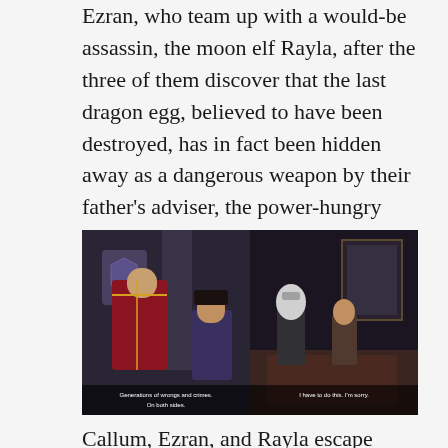Ezran, who team up with a would-be assassin, the moon elf Rayla, after the three of them discover that the last dragon egg, believed to have been destroyed, has in fact been hidden away as a dangerous weapon by their father's adviser, the power-hungry mage Viren.
[Figure (screenshot): Two side-by-side screenshots from an animated show. Left: a bearded man in red and gold armor speaking to a young boy with dark hair. Subtitle reads 'Generations of wrongs and crimes. On both sides.' Right: a scene with two characters, one in dark outfit, in a dimly lit room. Subtitle reads 'I have to do this. I'm sorry.']
Callum, Ezran, and Rayla escape from the castle just before the other moon-elves attack and King Harrow is killed. Viren attempts to declare the princes dead and seize the throne, but is stopped after their aunt, General Amaya